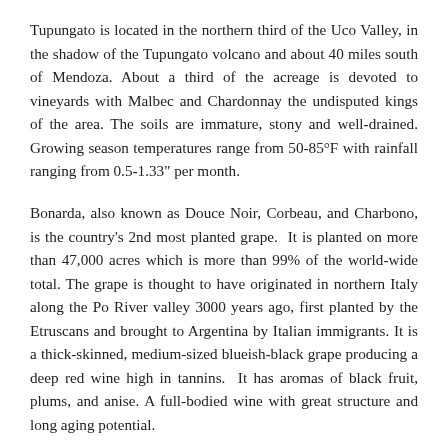Tupungato is located in the northern third of the Uco Valley, in the shadow of the Tupungato volcano and about 40 miles south of Mendoza. About a third of the acreage is devoted to vineyards with Malbec and Chardonnay the undisputed kings of the area. The soils are immature, stony and well-drained. Growing season temperatures range from 50-85°F with rainfall ranging from 0.5-1.33" per month.
Bonarda, also known as Douce Noir, Corbeau, and Charbono, is the country's 2nd most planted grape. It is planted on more than 47,000 acres which is more than 99% of the world-wide total. The grape is thought to have originated in northern Italy along the Po River valley 3000 years ago, first planted by the Etruscans and brought to Argentina by Italian immigrants. It is a thick-skinned, medium-sized blueish-black grape producing a deep red wine high in tannins. It has aromas of black fruit, plums, and anise. A full-bodied wine with great structure and long aging potential.
Ricardo Santos, owner of the Norton Winery, was the first producer in Argentina to export Malbec wines to the US in 1972. Santos sold this winery in 1989 and purchased vineyards around Mendoza, Maipu and Russell. The Ricardo Santos Bodega and Vineyards today run by